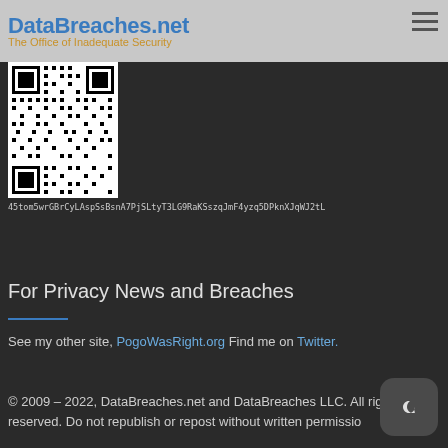DataBreaches.net – The Office of Inadequate Security
[Figure (other): QR code image]
45tom5wrGBrCyLAspSsBsnA7PjSLtyT3LG9RaKSszqJmF4yzq5DPknXJqWJ2tL
For Privacy News and Breaches
See my other site, PogoWasRight.org Find me on Twitter.
© 2009 – 2022, DataBreaches.net and DataBreaches LLC. All rights reserved. Do not republish or repost without written permission.